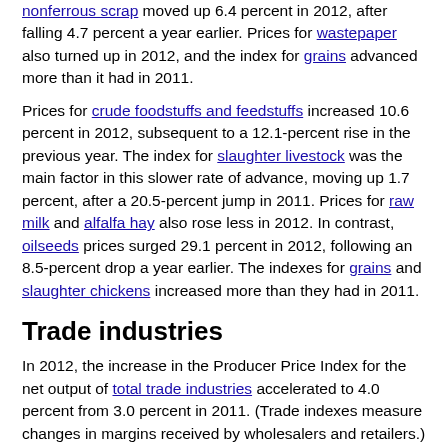nonferrous scrap moved up 6.4 percent in 2012, after falling 4.7 percent a year earlier. Prices for wastepaper also turned up in 2012, and the index for grains advanced more than it had in 2011.
Prices for crude foodstuffs and feedstuffs increased 10.6 percent in 2012, subsequent to a 12.1-percent rise in the previous year. The index for slaughter livestock was the main factor in this slower rate of advance, moving up 1.7 percent, after a 20.5-percent jump in 2011. Prices for raw milk and alfalfa hay also rose less in 2012. In contrast, oilseeds prices surged 29.1 percent in 2012, following an 8.5-percent drop a year earlier. The indexes for grains and slaughter chickens increased more than they had in 2011.
Trade industries
In 2012, the increase in the Producer Price Index for the net output of total trade industries accelerated to 4.0 percent from 3.0 percent in 2011. (Trade indexes measure changes in margins received by wholesalers and retailers.) Leading this faster rate of advance, the margin index for merchant wholesalers of nondurable goods climbed 4.7 percent, after rising 1.3 percent in the prior year. Margins received by discount department stores and merchant wholesalers of durable goods also rose more than in